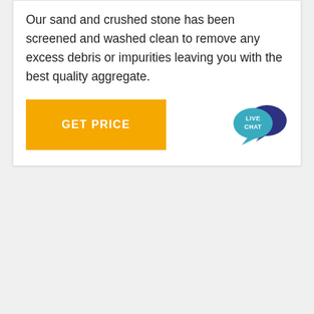Our sand and crushed stone has been screened and washed clean to remove any excess debris or impurities leaving you with the best quality aggregate.
[Figure (illustration): Yellow 'GET PRICE' button on the left and a 'LIVE CHAT' speech bubble icon on the right]